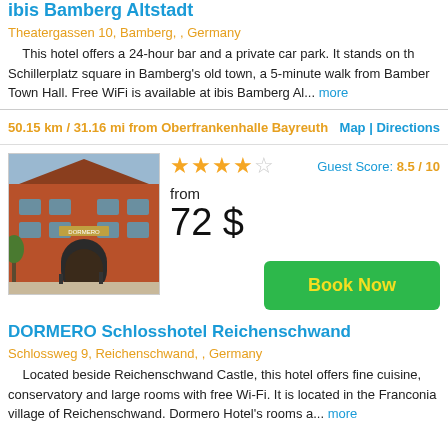ibis Bamberg Altstadt
Theatergassen 10, Bamberg, , Germany
This hotel offers a 24-hour bar and a private car park. It stands on the Schillerplatz square in Bamberg's old town, a 5-minute walk from Bamberg Town Hall. Free WiFi is available at ibis Bamberg Al... more
50.15 km / 31.16 mi from Oberfrankenhalle Bayreuth
Map | Directions
[Figure (photo): Photo of DORMERO hotel building, a large red brick building with arched entrance]
Guest Score: 8.5 / 10
from
72 $
Book Now
DORMERO Schlosshotel Reichenschwand
Schlossweg 9, Reichenschwand, , Germany
Located beside Reichenschwand Castle, this hotel offers fine cuisine, conservatory and large rooms with free Wi-Fi. It is located in the Franconia village of Reichenschwand. Dormero Hotel's rooms a... more